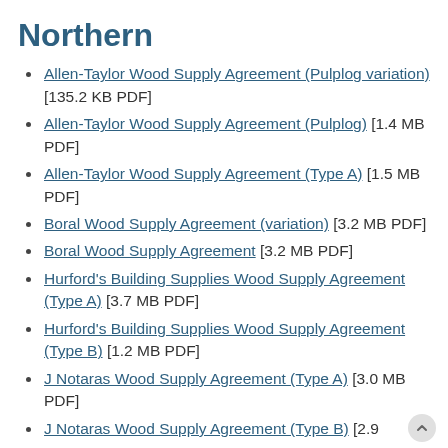Northern
Allen-Taylor Wood Supply Agreement (Pulplog variation) [135.2 KB PDF]
Allen-Taylor Wood Supply Agreement (Pulplog) [1.4 MB PDF]
Allen-Taylor Wood Supply Agreement (Type A) [1.5 MB PDF]
Boral Wood Supply Agreement (variation) [3.2 MB PDF]
Boral Wood Supply Agreement [3.2 MB PDF]
Hurford's Building Supplies Wood Supply Agreement (Type A) [3.7 MB PDF]
Hurford's Building Supplies Wood Supply Agreement (Type B) [1.2 MB PDF]
J Notaras Wood Supply Agreement (Type A) [3.0 MB PDF]
J Notaras Wood Supply Agreement (Type B) [2.9 ...